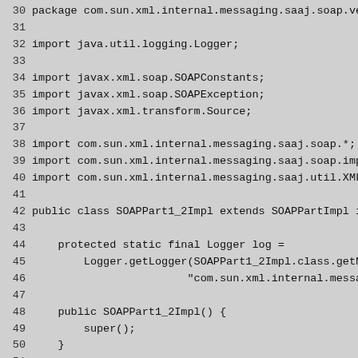Source code listing lines 30-59, Java file com.sun.xml.internal.messaging.saaj.soap.ver package, showing imports and SOAPPart1_2Impl class definition with constructors and getContentType method.